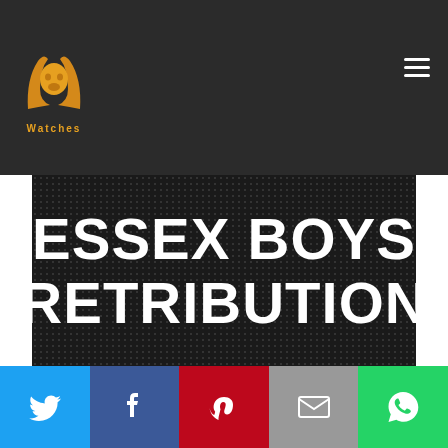[Figure (logo): PP Watches logo - golden ram horns icon with text 'Watches' below]
ESSEX BOYS RETRIBUTION
[Figure (other): Social sharing bar with Twitter, Facebook, Pinterest, Email, and WhatsApp buttons]